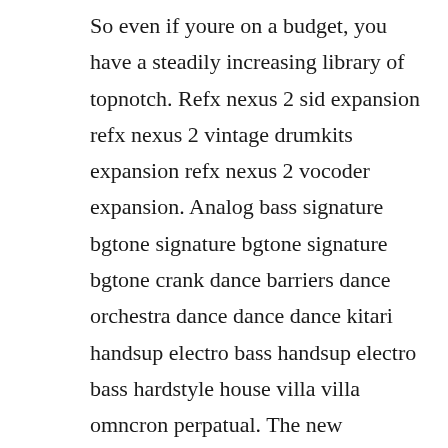So even if youre on a budget, you have a steadily increasing library of topnotch. Refx nexus 2 sid expansion refx nexus 2 vintage drumkits expansion refx nexus 2 vocoder expansion. Analog bass signature bgtone signature bgtone signature bgtone crank dance barriers dance orchestra dance dance dance kitari handsup electro bass handsup electro bass hardstyle house villa villa omncron perpatual. The new expansion consists of 150 authentic synths, arps and drums. Nxs torrent download,torrent hash is 1d3915b88251a4a4cffa90300a63e88d8e848da5.